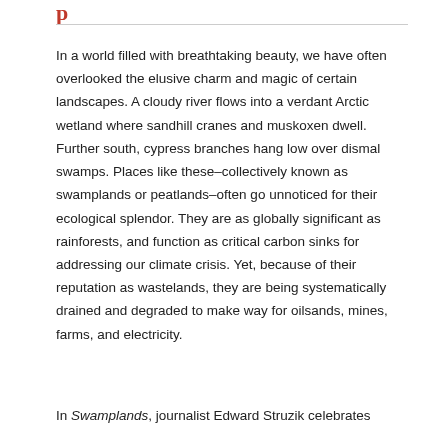p
In a world filled with breathtaking beauty, we have often overlooked the elusive charm and magic of certain landscapes. A cloudy river flows into a verdant Arctic wetland where sandhill cranes and muskoxen dwell. Further south, cypress branches hang low over dismal swamps. Places like these–collectively known as swamplands or peatlands–often go unnoticed for their ecological splendor. They are as globally significant as rainforests, and function as critical carbon sinks for addressing our climate crisis. Yet, because of their reputation as wastelands, they are being systematically drained and degraded to make way for oilsands, mines, farms, and electricity.
In Swamplands, journalist Edward Struzik celebrates